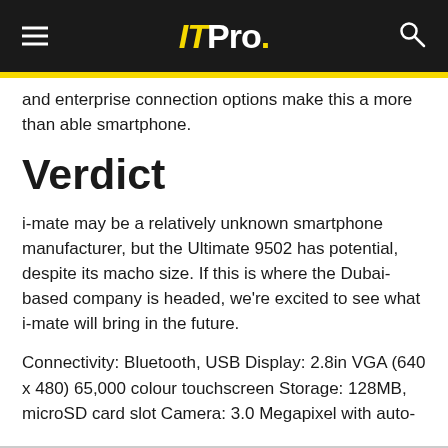ITPro.
and enterprise connection options make this a more than able smartphone.
Verdict
i-mate may be a relatively unknown smartphone manufacturer, but the Ultimate 9502 has potential, despite its macho size. If this is where the Dubai-based company is headed, we're excited to see what i-mate will bring in the future.
Connectivity: Bluetooth, USB Display: 2.8in VGA (640 x 480) 65,000 colour touchscreen Storage: 128MB, microSD card slot Camera: 3.0 Megapixel with auto-